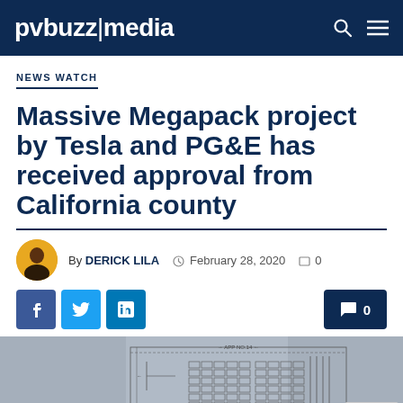pvbuzz|media
NEWS WATCH
Massive Megapack project by Tesla and PG&E has received approval from California county
By DERICK LILA  ○ February 28, 2020  □ 0
[Figure (screenshot): Engineering schematic diagram of a large battery storage facility layout, shown as a low-contrast technical drawing on a gray aerial background.]